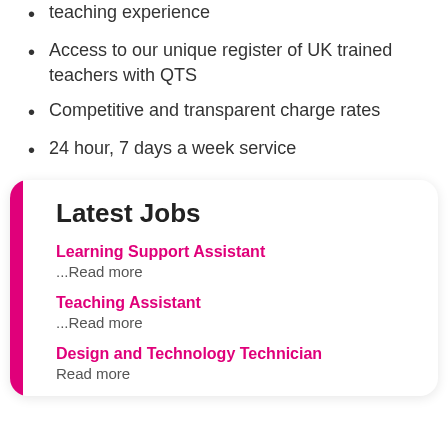teaching experience
Access to our unique register of UK trained teachers with QTS
Competitive and transparent charge rates
24 hour, 7 days a week service
Latest Jobs
Learning Support Assistant
...Read more
Teaching Assistant
...Read more
Design and Technology Technician
Read more